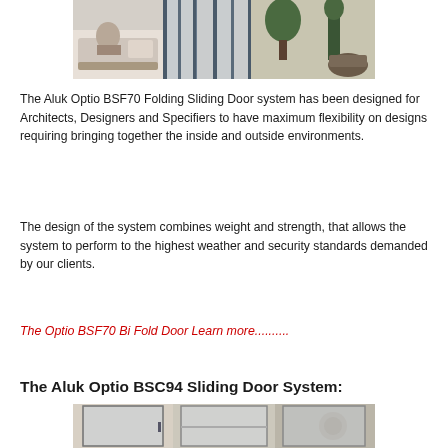[Figure (photo): Photo of a folding sliding door system (Aluk Optio BSF70) showing bifold doors open, with interior sofa and exterior plants visible.]
The Aluk Optio BSF70 Folding Sliding Door system has been designed for Architects, Designers and Specifiers to have maximum flexibility on designs requiring bringing together the inside and outside environments.
The design of the system combines weight and strength, that allows the system to perform to the highest weather and security standards demanded by our clients.
The Optio BSF70 Bi Fold Door Learn more..........
The Aluk Optio BSC94 Sliding Door System:
[Figure (photo): Photo of the Aluk Optio BSC94 Sliding Door System showing large glass sliding doors in an interior setting.]